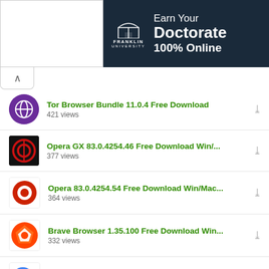[Figure (screenshot): Franklin University advertisement banner: dark navy background with arch logo and text 'Earn Your Doctorate 100% Online']
Tor Browser Bundle 11.0.4 Free Download
421 views
Opera GX 83.0.4254.46 Free Download Win/...
377 views
Opera 83.0.4254.54 Free Download Win/Mac...
364 views
Brave Browser 1.35.100 Free Download Win...
332 views
Cent Browser 4.3.9.248 Free Download Latest
312 views
Avast Secure Browser 97.1.13818.100 Free D...
270 views